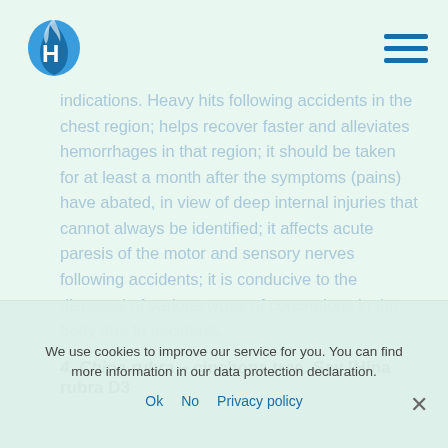[Logo and navigation menu]
indications. Heavy hits following accidents in the chest region; helps recover faster and alleviates hemorrhages in that region; it should be taken for at least a month after the symptoms (pains) have abated, in view of deep internal injuries that cannot always be identified; it affects acute paresis of the motor and sensory nerves following accidents; it is conducive to the dispersal of various types of concretions in the body due to accidents.
4. China rubra – cinchona tree. Sav [Hina rubra D3
We use cookies to improve our service for you. You can find more information in our data protection declaration.
Ok  No  Privacy policy